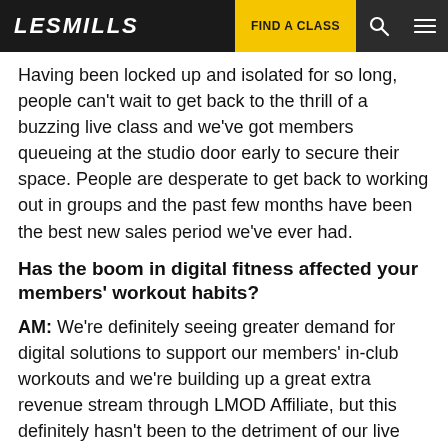LESMILLS | FIND A CLASS
Having been locked up and isolated for so long, people can't wait to get back to the thrill of a buzzing live class and we've got members queueing at the studio door early to secure their space. People are desperate to get back to working out in groups and the past few months have been the best new sales period we've ever had.
Has the boom in digital fitness affected your members' workout habits?
AM: We're definitely seeing greater demand for digital solutions to support our members' in-club workouts and we're building up a great extra revenue stream through LMOD Affiliate, but this definitely hasn't been to the detriment of our live offering. Digital workouts are a convenient back-up to keep members in the habit of exercising – particularly as people in the